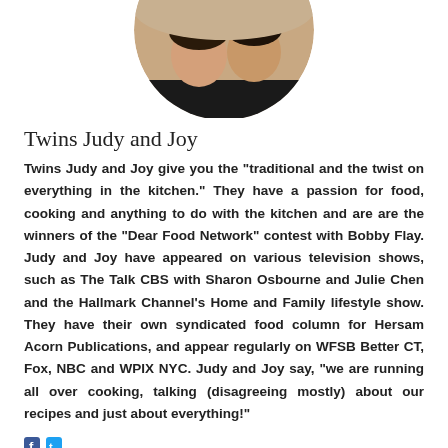[Figure (photo): Circular cropped photo of twins Judy and Joy, two women in black outfits, shown from roughly chest up, smiling]
Twins Judy and Joy
Twins Judy and Joy give you the “traditional and the twist on everything in the kitchen.” They have a passion for food, cooking and anything to do with the kitchen and are are the winners of the “Dear Food Network” contest with Bobby Flay. Judy and Joy have appeared on various television shows, such as The Talk CBS with Sharon Osbourne and Julie Chen and the Hallmark Channel’s Home and Family lifestyle show. They have their own syndicated food column for Hersam Acorn Publications, and appear regularly on WFSB Better CT, Fox, NBC and WPIX NYC. Judy and Joy say, “we are running all over cooking, talking (disagreeing mostly) about our recipes and just about everything!”
[Figure (illustration): Small social media icons at the bottom left (partially visible)]